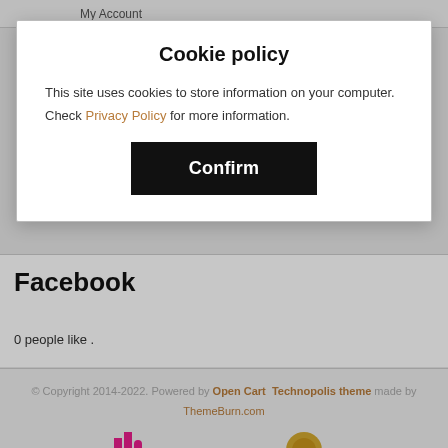My Account
Cookie policy
This site uses cookies to store information on your computer. Check Privacy Policy for more information.
Confirm
Facebook
0 people like .
© Copyright 2014-2022. Powered by Open Cart  Technopolis theme made by ThemeBurn.com